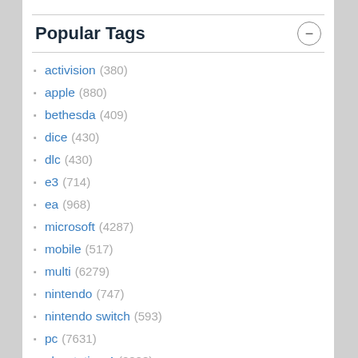Popular Tags
activision (380)
apple (880)
bethesda (409)
dice (430)
dlc (430)
e3 (714)
ea (968)
microsoft (4287)
mobile (517)
multi (6279)
nintendo (747)
nintendo switch (593)
pc (7631)
playstation 4 (2828)
playstation 5 (414)
ps4 (2773)
ps5 (395)
rpg (652)
sony (4764)
square enix (621)
steam (1752)